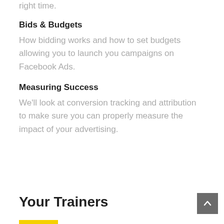right time.
Bids & Budgets
How bidding works and how to set budgets allowing you to launch you campaigns on Facebook Ads.
Measuring Success
We’ll look at conversion tracking and attribution to make sure you can properly measure the impact of your advertising.
Your Trainers